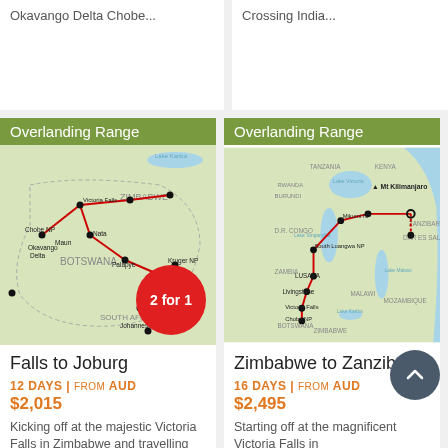Okavango Delta Chobe
Crossing India...
[Figure (map): Route map showing Overlanding Range: Falls to Joburg trip through Botswana, Zimbabwe, South Africa. Stops include Okavango Delta, Chobe, Victoria Falls, Nata, Maun, Palapye, Kruger NP, Blydepoort, Johannesburg. Has 2 for 1 badge.]
Falls to Joburg
12 DAYS | FROM AUD $2,015
Kicking off at the majestic Victoria Falls in Zimbabwe and travelling through to
[Figure (map): Route map showing Overlanding Range: Zimbabwe to Zanzibar trip through Zambia, Tanzania, Malawi, Mozambique. Stops include Victoria Falls, Chobe NP, Livingstone, Lusaka, South Luangwa NP, Mikumi NP, Zanzibar, Dar Es Salaam.]
Zimbabwe to Zanzibar
16 DAYS | FROM AUD $2,495
Starting off at the magnificent Victoria Falls in